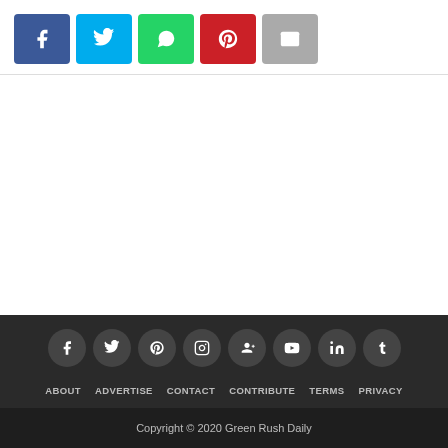[Figure (infographic): Row of 5 social share buttons: Facebook (blue), Twitter (light blue), WhatsApp (green), Pinterest (red), Email (grey)]
[Figure (infographic): Row of 8 dark circular social media icon buttons: Facebook, Twitter, Pinterest, Instagram, Google+, YouTube, LinkedIn, Tumblr]
ABOUT   ADVERTISE   CONTACT   CONTRIBUTE   TERMS   PRIVACY
Copyright © 2020 Green Rush Daily